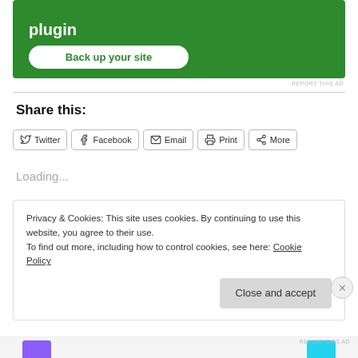[Figure (screenshot): Green advertisement banner for a WordPress backup plugin with 'plugin' text and a 'Back up your site' button]
REPORT THIS AD
Share this:
[Figure (screenshot): Social share buttons: Twitter, Facebook, Email, Print, More]
Loading...
Privacy & Cookies: This site uses cookies. By continuing to use this website, you agree to their use.
To find out more, including how to control cookies, see here: Cookie Policy
Close and accept